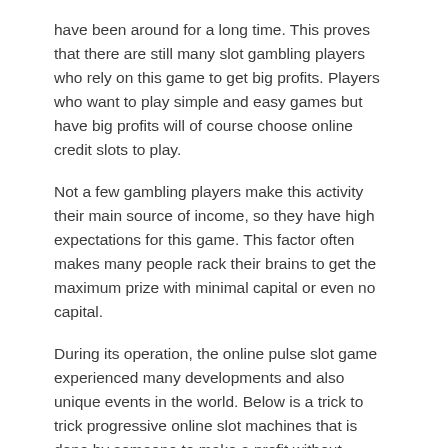have been around for a long time. This proves that there are still many slot gambling players who rely on this game to get big profits. Players who want to play simple and easy games but have big profits will of course choose online credit slots to play.
Not a few gambling players make this activity their main source of income, so they have high expectations for this game. This factor often makes many people rack their brains to get the maximum prize with minimal capital or even no capital.
During its operation, the online pulse slot game experienced many developments and also unique events in the world. Below is a trick to trick progressive online slot machines that is done by someone to make a profit without spending any capital at all.
How to Trick Progressive Slot Machines